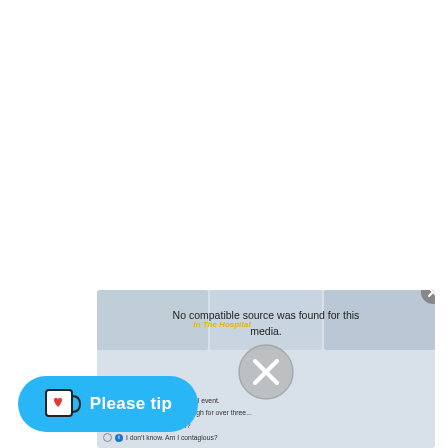[Figure (screenshot): Screenshot of a webpage showing a video player with 'No compatible source was found for this media.' error message and an X overlay button. Below are quiz-style radio button options. A cyan 'Please tip' button with a Ko-fi cup icon is overlaid at the bottom left.]